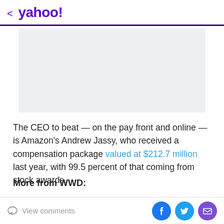< yahoo!
[Figure (other): Advertisement placeholder box with light blue-grey background]
The CEO to beat — on the pay front and online — is Amazon's Andrew Jassy, who received a compensation package valued at $212.7 million last year, with 99.5 percent of that coming from stock awards.
More from WWD:
Moody's Sets Outlook to Negative for Retail, Apparel
View comments